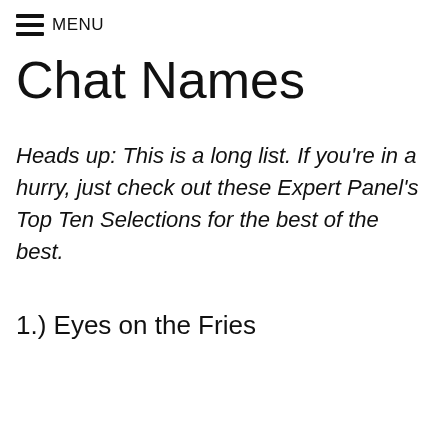≡ MENU
Chat Names
Heads up: This is a long list. If you're in a hurry, just check out these Expert Panel's Top Ten Selections for the best of the best.
1.) Eyes on the Fries